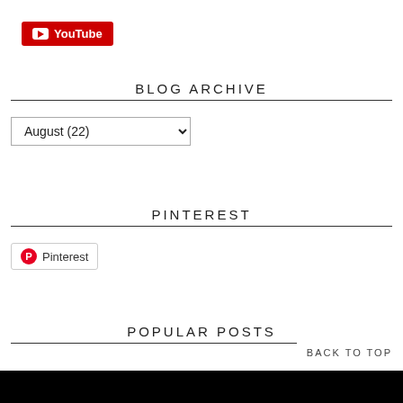[Figure (logo): YouTube button — red background with white play icon and white text 'YouTube']
BLOG ARCHIVE
August (22)
PINTEREST
[Figure (logo): Pinterest button — bordered box with red Pinterest circle icon and text 'Pinterest']
POPULAR POSTS
BACK TO TOP